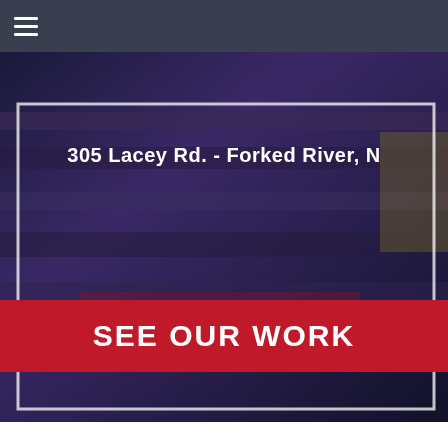[Figure (screenshot): Website navigation bar with hamburger menu icon on dark background]
[Figure (photo): Hero banner image showing '305 Lacey Rd. - Forked River, N' address text in white on dark retail/store background with white border frame]
[Figure (infographic): Red call-to-action button banner with text 'SEE OUR WORK']
SEARCH SITE
Search and hit enter...
NEWSLETTER